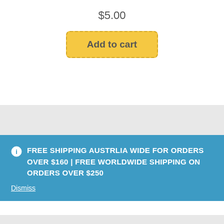$5.00
Add to cart
FREE SHIPPING AUSTRLIA WIDE FOR ORDERS OVER $160 | FREE WORLDWIDE SHIPPING ON ORDERS OVER $250
Dismiss